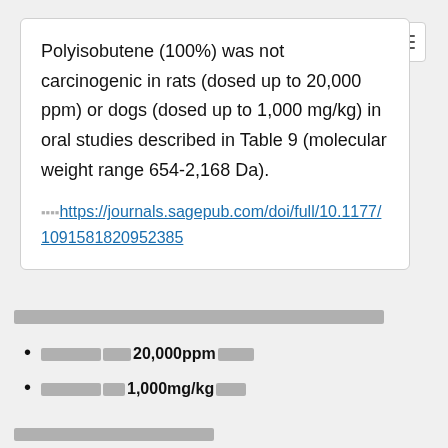Polyisobutene (100%) was not carcinogenic in rats (dosed up to 20,000 ppm) or dogs (dosed up to 1,000 mg/kg) in oral studies described in Table 9 (molecular weight range 654-2,168 Da).
https://journals.sagepub.com/doi/full/10.1177/1091581820952385
[redacted text bar]
[redacted] 20,000ppm [redacted]
[redacted] 1,000mg/kg [redacted]
[redacted footer text]